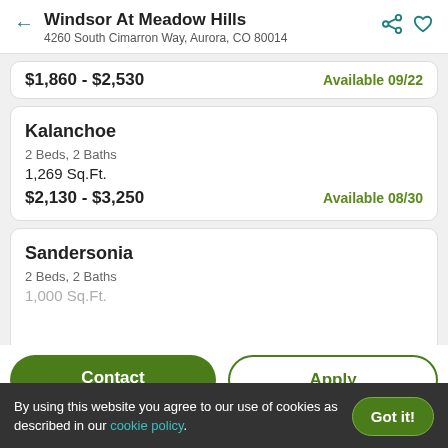Windsor At Meadow Hills
4260 South Cimarron Way, Aurora, CO 80014
$1,860 - $2,530  Available 09/22
Kalanchoe
2 Beds, 2 Baths
1,269 Sq.Ft.
$2,130 - $3,250  Available 08/30
Sandersonia
2 Beds, 2 Baths
1,000 Sq.Ft.
Contact  Apply
By using this website you agree to our use of cookies as described in our cookie policy.